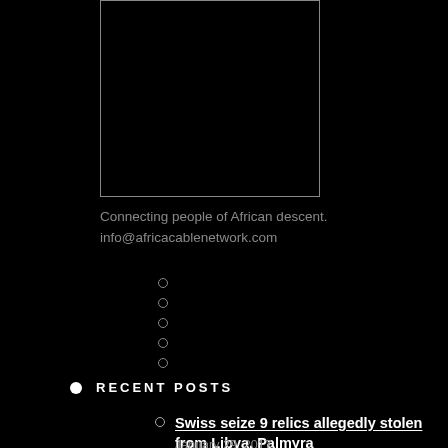[Figure (photo): Black rectangle image placeholder with white border outline]
Connecting people of African descent.
info@africacablenetwork.com
RECENT POSTS
Swiss seize 9 relics allegedly stolen from Libya, Palmyra
January 29, 2017